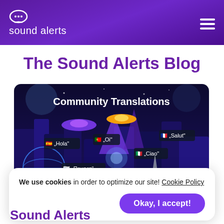sound alerts
The Sound Alerts Blog
[Figure (illustration): Futuristic cartoon cityscape with 'Community Translations' text and greetings in multiple languages with flag emojis: Hola (Spanish), Oi (Portuguese), Привет (Russian), Ciao (Italian), Salut (French), Hallo (German). Happy Streaming sign visible.]
We use cookies in order to optimize our site! Cookie Policy
Okay, I accept!
Sound Alerts